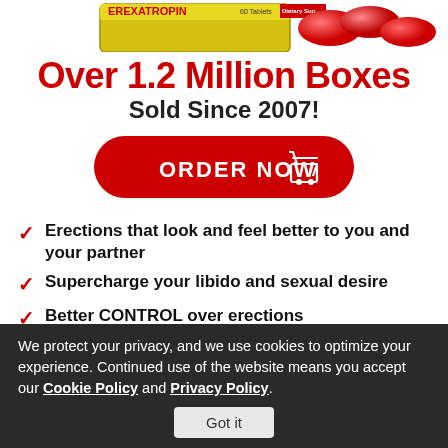[Figure (photo): Product image of supplement tablet box with red pills visible at top of page]
Over 1.2 Million Boxes Sold Since 2007!
[Figure (other): Red rounded button with ORDER NOW text and shopping cart icon]
Erections that look and feel better to you and your partner
Supercharge your libido and sexual desire
Better CONTROL over erections
We protect your privacy, and we use cookies to optimize your experience. Continued use of the website means you accept our Cookie Policy and Privacy Policy.
Got it